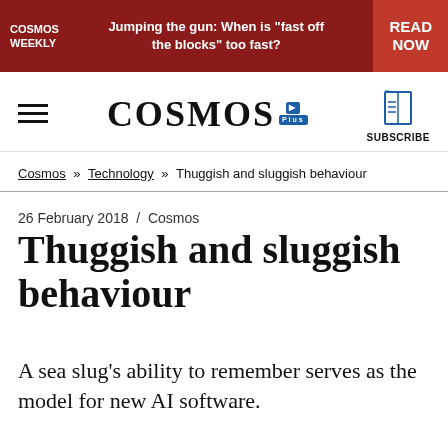COSMOS WEEKLY | Jumping the gun: When is "fast off the blocks" too fast? | READ NOW
[Figure (logo): Cosmos magazine logo with hamburger menu and subscribe button]
Cosmos » Technology » Thuggish and sluggish behaviour
26 February 2018  /  Cosmos
Thuggish and sluggish behaviour
A sea slug's ability to remember serves as the model for new AI software.